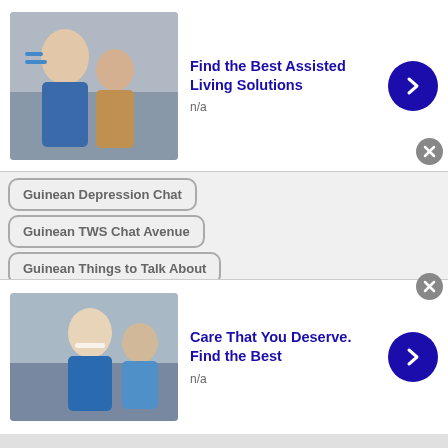[Figure (photo): Ad banner: Find the Best Assisted Living Solutions with photo of caregiver helping elderly person]
Find the Best Assisted Living Solutions
n/a
Guinean Depression Chat
Guinean TWS Chat Avenue
Guinean Things to Talk About
Guinean Free Chat Now
Guinean Chat with Friends
Guinean Talk to Me
Guinean Start Chatting
Guinean Talk to Strangers Online
[Figure (photo): Ad banner: Care That You Deserve. Find the Best with photo of healthcare worker]
Care That You Deserve. Find the Best
n/a